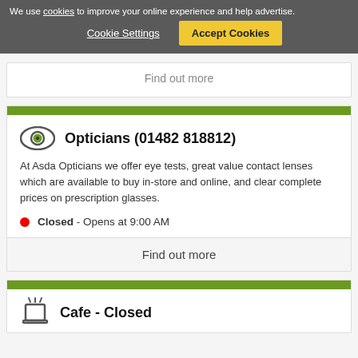We use cookies to improve your online experience and help advertise.
Cookie Settings | Accept Cookies
Find out more
Opticians (01482 818812)
At Asda Opticians we offer eye tests, great value contact lenses which are available to buy in-store and online, and clear complete prices on prescription glasses.
Closed - Opens at 9:00 AM
Find out more
Cafe - Closed